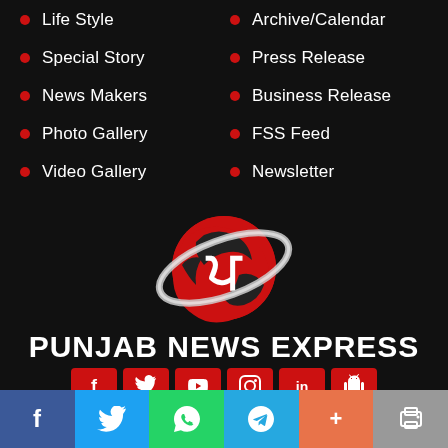Life Style
Special Story
News Makers
Photo Gallery
Video Gallery
Archive/Calendar
Press Release
Business Release
FSS Feed
Newsletter
[Figure (logo): Punjab News Express globe logo with Punjabi letter]
PUNJAB NEWS EXPRESS
[Figure (infographic): Social media buttons: Facebook, Twitter, YouTube, Instagram, LinkedIn, Android]
[Figure (infographic): Footer social share bar: Facebook, Twitter, WhatsApp, Telegram, Share, Print]